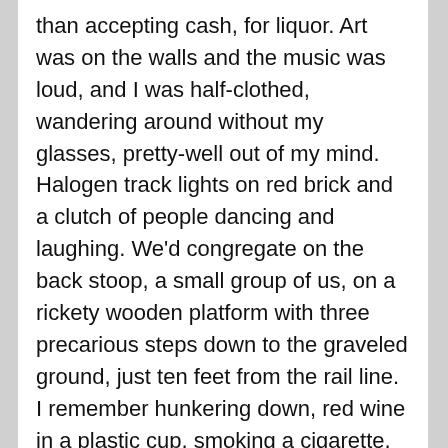than accepting cash, for liquor. Art was on the walls and the music was loud, and I was half-clothed, wandering around without my glasses, pretty-well out of my mind. Halogen track lights on red brick and a clutch of people dancing and laughing. We'd congregate on the back stoop, a small group of us, on a rickety wooden platform with three precarious steps down to the graveled ground, just ten feet from the rail line. I remember hunkering down, red wine in a plastic cup, smoking a cigarette, as the train whooshed by, drowning-out our conversation.
Ten years later, I realize that these are the stories I'll be telling to younger people. You know, “when I was in college” or “when I was your age” type of stories. Speaking about when times were more